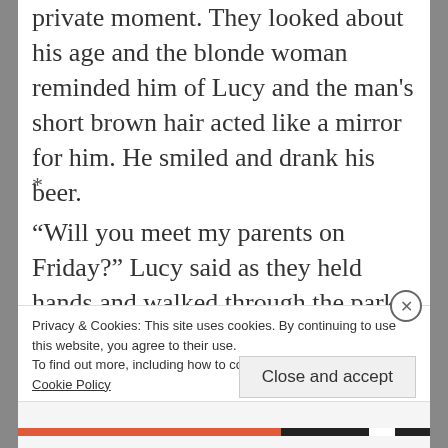private moment. They looked about his age and the blonde woman reminded him of Lucy and the man's short brown hair acted like a mirror for him. He smiled and drank his beer.
*
“Will you meet my parents on Friday?” Lucy said as they held hands and walked through the park the following Monday.
Privacy & Cookies: This site uses cookies. By continuing to use this website, you agree to their use.
To find out more, including how to control cookies, see here: Cookie Policy
Close and accept